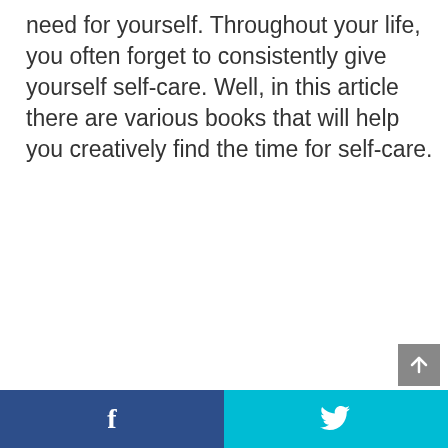need for yourself. Throughout your life, you often forget to consistently give yourself self-care. Well, in this article there are various books that will help you creatively find the time for self-care.
[Figure (other): Gray scroll-to-top button with upward arrow in bottom right corner]
Facebook share button | Twitter share button